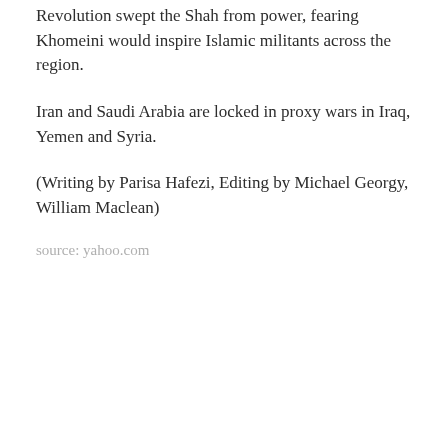Revolution swept the Shah from power, fearing Khomeini would inspire Islamic militants across the region.
Iran and Saudi Arabia are locked in proxy wars in Iraq, Yemen and Syria.
(Writing by Parisa Hafezi, Editing by Michael Georgy, William Maclean)
source: yahoo.com